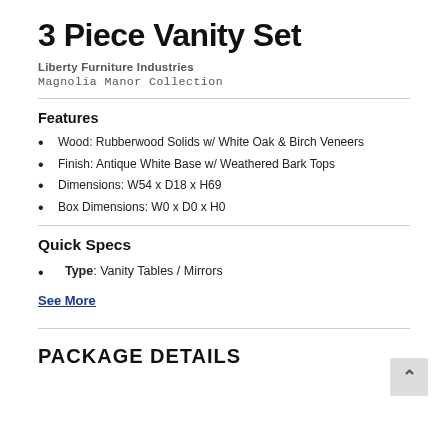3 Piece Vanity Set
Liberty Furniture Industries
Magnolia Manor Collection
Features
Wood: Rubberwood Solids w/ White Oak & Birch Veneers
Finish: Antique White Base w/ Weathered Bark Tops
Dimensions: W54 x D18 x H69
Box Dimensions: W0 x D0 x H0
Quick Specs
Type: Vanity Tables / Mirrors
See More
PACKAGE DETAILS